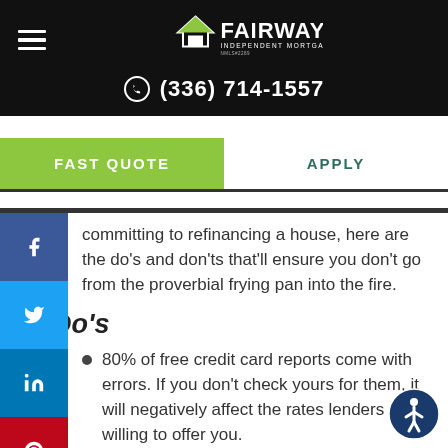[Figure (logo): Fairway Independent Mortgage Corporation logo in white on black background with hamburger menu icon]
(336) 714-1557
FAST QUOTE
APPLY
committing to refinancing a house, here are the do's and don'ts that'll ensure you don't go from the proverbial frying pan into the fire.
Do's
80% of free credit card reports come with errors. If you don't check yours for them, it will negatively affect the rates lenders are willing to offer you.
Determine your breakeven point before applying for refinancing. It will give you an idea of how